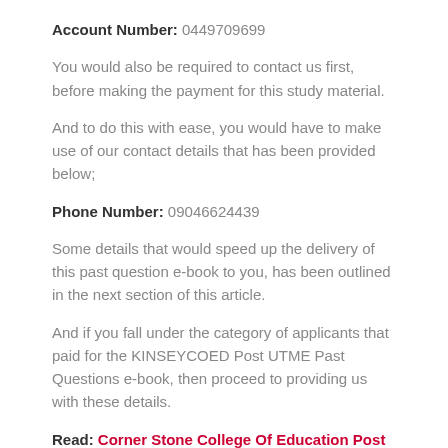Account Number: 0449709699
You would also be required to contact us first, before making the payment for this study material.
And to do this with ease, you would have to make use of our contact details that has been provided below;
Phone Number: 09046624439
Some details that would speed up the delivery of this past question e-book to you, has been outlined in the next section of this article.
And if you fall under the category of applicants that paid for the KINSEYCOED Post UTME Past Questions e-book, then proceed to providing us with these details.
Read: Corner Stone College Of Education Post UTME Past Questions